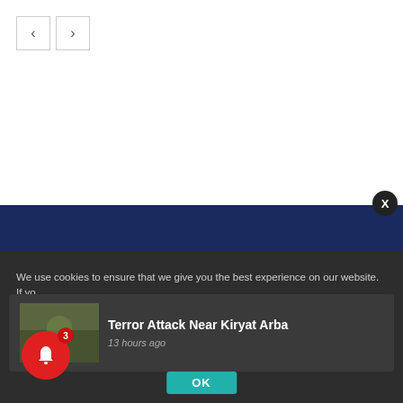[Figure (screenshot): Navigation arrow buttons (left and right) in square bordered boxes]
[Figure (screenshot): Green banner with overlapping headline text: 'Is It Proper To Adopt If You Have Biological Children?' and 'Something Random from the Week', with 'In Print' label below]
[Figure (screenshot): Dark navy band footer area]
We use cookies to ensure that we give you the best experience on our website. If yo
[Figure (photo): Military/combat scene thumbnail image]
Terror Attack Near Kiryat Arba
13 hours ago
OK